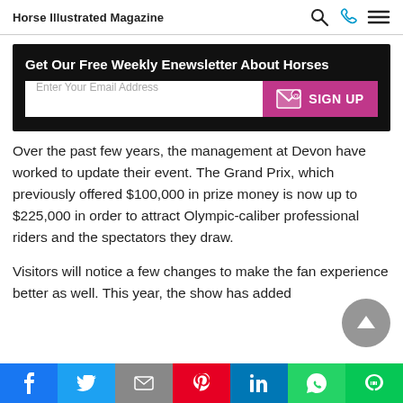Horse Illustrated Magazine
[Figure (infographic): Newsletter signup banner with black background. Title: 'Get Our Free Weekly Enewsletter About Horses'. Email input field and pink SIGN UP button with envelope icon.]
Over the past few years, the management at Devon have worked to update their event. The Grand Prix, which previously offered $100,000 in prize money is now up to $225,000 in order to attract Olympic-caliber professional riders and the spectators they draw.
Visitors will notice a few changes to make the fan experience better as well. This year, the show has added